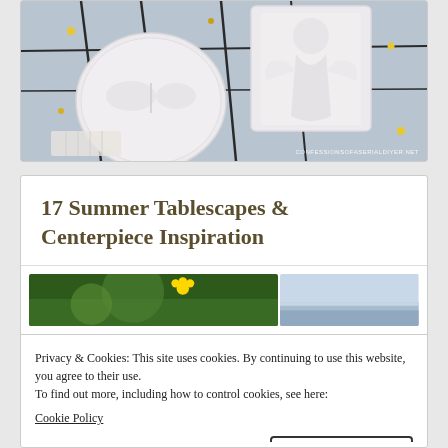[Figure (photo): White decorative soap or plaster items with butterfly and angel motifs arranged on a dark wire rack, with small yellow and dark decorative elements, light blue background. Watermark reads 'CONFESSIONSOFASERIALDIYER.NET']
17 Summer Tablescapes & Centerpiece Inspiration
[Figure (photo): Two photo thumbnails side by side: left shows green foliage with yellow flower, right shows a lake or water scene with reflections]
Privacy & Cookies: This site uses cookies. By continuing to use this website, you agree to their use.
To find out more, including how to control cookies, see here:
Cookie Policy
[Figure (photo): Two photo thumbnails at bottom: left shows purple/blue flowers, right shows colorful fruits]